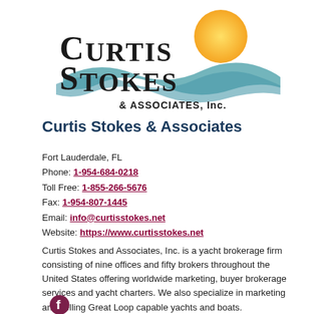[Figure (logo): Curtis Stokes & Associates Inc. logo with sun and wave motif, black serif text]
Curtis Stokes & Associates
Fort Lauderdale, FL
Phone: 1-954-684-0218
Toll Free: 1-855-266-5676
Fax: 1-954-807-1445
Email: info@curtisstokes.net
Website: https://www.curtisstokes.net
Curtis Stokes and Associates, Inc. is a yacht brokerage firm consisting of nine offices and fifty brokers throughout the United States offering worldwide marketing, buyer brokerage services and yacht charters. We also specialize in marketing and selling Great Loop capable yachts and boats.
[Figure (logo): Facebook icon logo in dark red/maroon color]